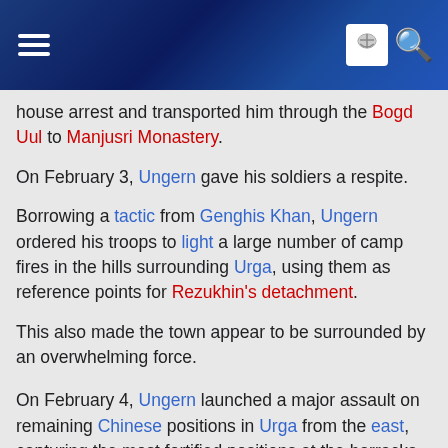Wikipedia navigation header with hamburger menu and search icon
house arrest and transported him through the Bogd Uul to Manjusri Monastery.
On February 3, Ungern gave his soldiers a respite.
Borrowing a tactic from Genghis Khan, Ungern ordered his troops to light a large number of camp fires in the hills surrounding Urga, using them as reference points for Rezukhin's detachment.
This also made the town appear to be surrounded by an overwhelming force.
On February 4, Ungern launched a major assault on remaining Chinese positions in Urga from the east, capturing the most fortified positions at the barracks and the Chinese trade settlement (Template:Lang-zh, Maimaicheng).
The entire capital was finally taken after several fierce battles, although a part of Chinese troops had abandoned the town earlier. Nevertheless, small battles continued through February 5.
Between March 11 and 13 Ungern... fortified Chin...